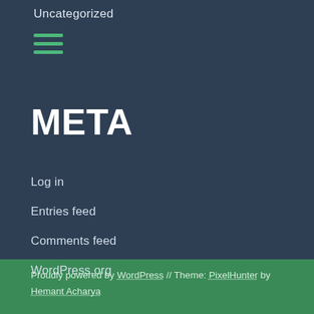Uncategorized
[Figure (illustration): Three horizontal green lines forming a hamburger/menu icon]
META
Log in
Entries feed
Comments feed
WordPress.org
Proudly powered by WordPress // Theme: PixelHunter by Hemant Acharya